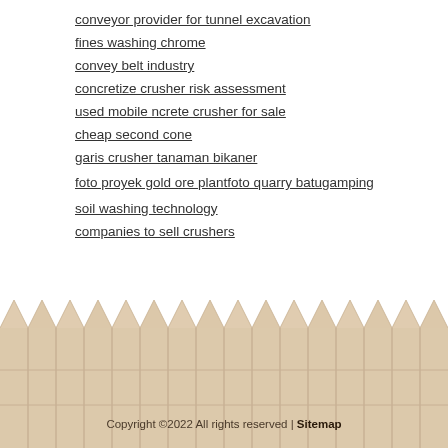conveyor provider for tunnel excavation
fines washing chrome
convey belt industry
concretize crusher risk assessment
used mobile ncrete crusher for sale
cheap second cone
garis crusher tanaman bikaner
foto proyek gold ore plantfoto quarry batugamping
soil washing technology
companies to sell crushers
Copyright ©2022 All rights reserved | Sitemap